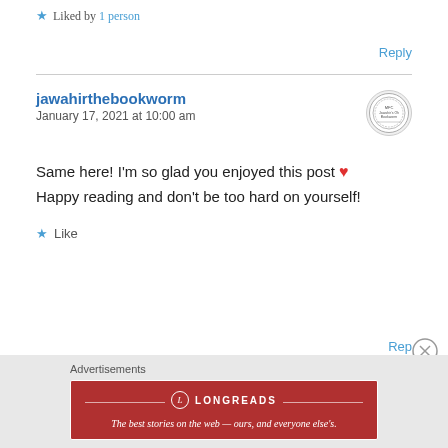Liked by 1 person
Reply
jawahirthebookworm
January 17, 2021 at 10:00 am
Same here! I'm so glad you enjoyed this post ❤ Happy reading and don't be too hard on yourself!
Like
Reply
Advertisements
LONGREADS — The best stories on the web — ours, and everyone else's.